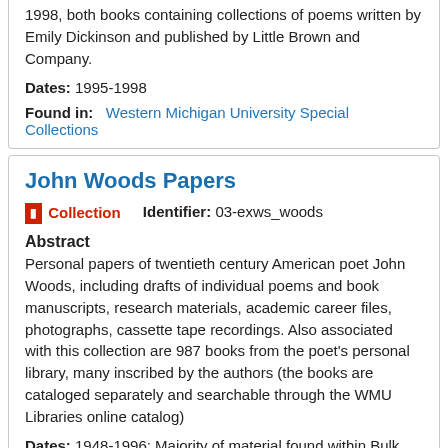1998, both books containing collections of poems written by Emily Dickinson and published by Little Brown and Company.
Dates: 1995-1998
Found in: Western Michigan University Special Collections
John Woods Papers
Collection  Identifier: 03-exws_woods
Abstract
Personal papers of twentieth century American poet John Woods, including drafts of individual poems and book manuscripts, research materials, academic career files, photographs, cassette tape recordings. Also associated with this collection are 987 books from the poet's personal library, many inscribed by the authors (the books are cataloged separately and searchable through the WMU Libraries online catalog)
Dates: 1948-1996; Majority of material found within Bulk 1950-1992; Other: Date acquired: 07/15/1999